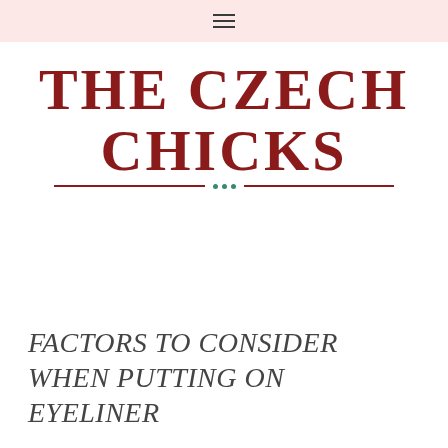☰
[Figure (logo): THE CZECH CHICKS logo in dark red bold serif uppercase letters with decorative underline consisting of two horizontal dark red lines and three teal dots in the center]
FACTORS TO CONSIDER WHEN PUTTING ON EYELINER